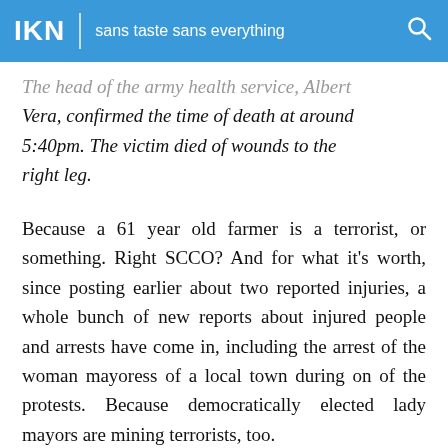IKN | sans taste sans everything
The head of the army health service, Albert Vera, confirmed the time of death at around 5:40pm. The victim died of wounds to the right leg.
Because a 61 year old farmer is a terrorist, or something. Right SCCO? And for what it's worth, since posting earlier about two reported injuries, a whole bunch of new reports about injured people and arrests have come in, including the arrest of the woman mayoress of a local town during on of the protests. Because democratically elected lady mayors are mining terrorists, too.